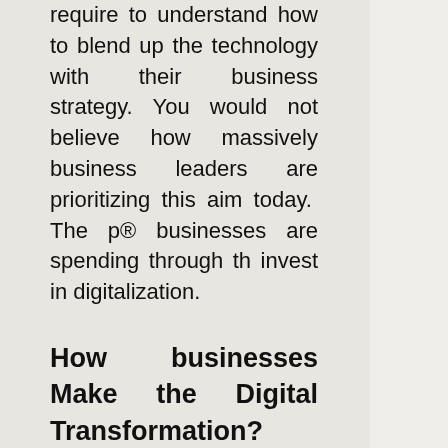require to understand how to blend up the technology with their business strategy. You would not believe how massively business leaders are prioritizing this aim today.  The p® businesses are spending through th invest in digitalization.
How businesses Make the Digital Transformation?
Businesses introduce fresh products o the market
Digital transformation has entirely c way you design new products and s digital arena has come up with a n